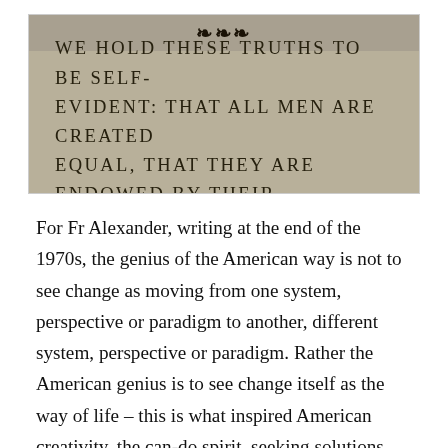[Figure (photo): Photograph of engraved stone text reading 'WE HOLD THESE TRUTHS TO BE SELF-EVIDENT: THAT ALL MEN ARE CREATED EQUAL, THAT THEY ARE ENDOWED BY THEIR' with a decorative emblem partially visible at the top.]
For Fr Alexander, writing at the end of the 1970s, the genius of the American way is not to see change as moving from one system, perspective or paradigm to another, different system, perspective or paradigm. Rather the American genius is to see change itself as the way of life – this is what inspired American creativity, the can-do spirit, seeking solutions rather than just seeing problems.  But as we approach 2020, 50 years after Schmemann's comments, we see a hardening of the mindset in America.  Both the left and the right are